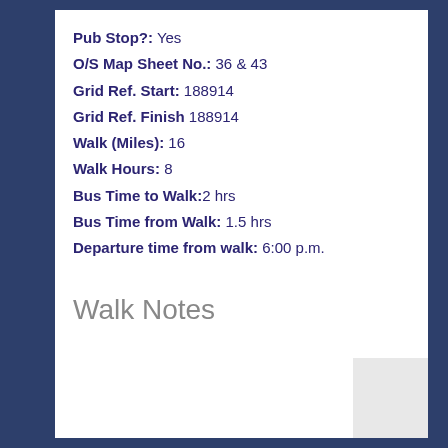Pub Stop?: Yes
O/S Map Sheet No.: 36 & 43
Grid Ref. Start: 188914
Grid Ref. Finish 188914
Walk (Miles): 16
Walk Hours: 8
Bus Time to Walk: 2 hrs
Bus Time from Walk: 1.5 hrs
Departure time from walk: 6:00 p.m.
Walk Notes